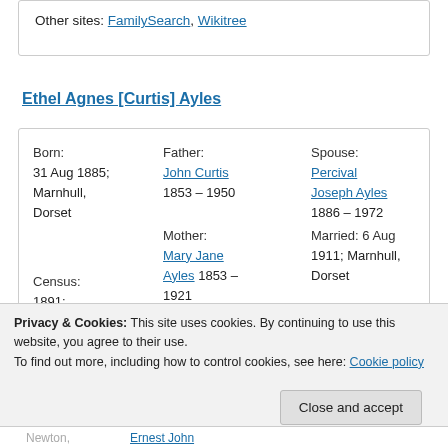Other sites: FamilySearch, Wikitree
Ethel Agnes [Curtis] Ayles
| Born: | Father: | Spouse: |
| 31 Aug 1885; | John Curtis | Percival |
| Marnhull, | 1853 – 1950 | Joseph Ayles |
| Dorset |  | 1886 – 1972 |
|  | Mother: | Married: 6 Aug |
| Census: | Mary Jane | 1911; Marnhull, |
| 1891: | Ayles 1853 – | Dorset |
| Lamberts, | 1921 |  |
Privacy & Cookies: This site uses cookies. By continuing to use this website, you agree to their use.
To find out more, including how to control cookies, see here: Cookie policy
Close and accept